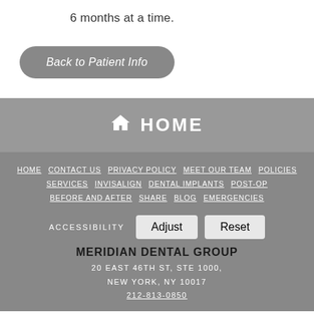6 months at a time.
Back to Patient Info
HOME
HOME  CONTACT US  PRIVACY POLICY  MEET OUR TEAM  POLICIES  SERVICES  INVISALIGN  DENTAL IMPLANTS  POST-OP  BEFORE AND AFTER  SHARE  BLOG  EMERGENCIES
ACCESSIBILITY  Adjust  Reset
MERIDIAN DENTAL GROUP
20 EAST 46TH ST, STE 1000, NEW YORK, NY 10017
212-813-0850